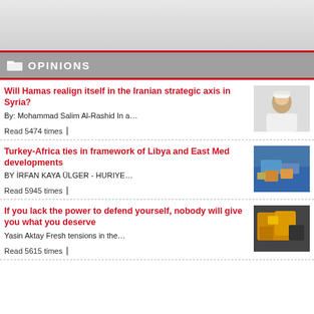OPINIONS
Will Hamas realign itself in the Iranian strategic axis in Syria?
By: Mohammad Salim Al-Rashid In a…
Read 5474 times
Turkey-Africa ties in framework of Libya and East Med developments
BY İRFAN KAYA ÜLGER - HURIYE…
Read 5945 times
If you lack the power to defend yourself, nobody will give you what you deserve
Yasin Aktay Fresh tensions in the…
Read 5615 times